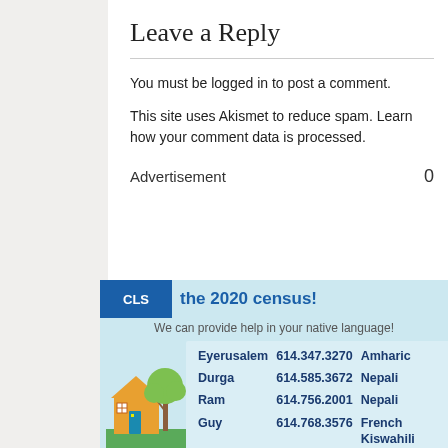Leave a Reply
You must be logged in to post a comment.
This site uses Akismet to reduce spam. Learn how your comment data is processed.
Advertisement    0
[Figure (illustration): Partial advertisement for the 2020 Census showing a banner with 'CLS' badge and 'the 2020 census!' headline, subtext 'We can provide help in your native language!', with a house and tree illustration, and a table listing contacts: Eyerusalem 614.347.3270 Amharic; Durga 614.585.3672 Nepali; Ram 614.756.2001 Nepali; Guy 614.768.3576 French Kiswahili Kinyarwanda]